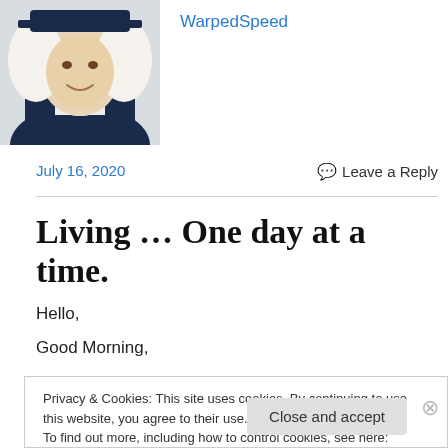[Figure (photo): Portrait illustration of a person dressed in colonial-era clothing with white wig and blue coat, partially visible, cropped at top-left of page.]
WarpedSpeed
July 16, 2020
Leave a Reply
Living … One day at a time.
Hello,
Good Morning,
Privacy & Cookies: This site uses cookies. By continuing to use this website, you agree to their use.
To find out more, including how to control cookies, see here: Cookie Policy
Close and accept